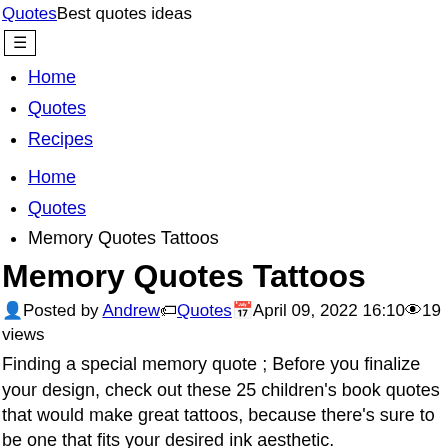QuotesBest quotes ideas
Home
Quotes
Recipes
Home
Quotes
Memory Quotes Tattoos
Memory Quotes Tattoos
Posted by Andrew  Quotes  April 09, 2022 16:10  19 views
Finding a special memory quote ; Before you finalize your design, check out these 25 children's book quotes that would make great tattoos, because there's sure to be one that fits your desired ink aesthetic.
Best 25 loving memory tattoos ideas on pinterest.